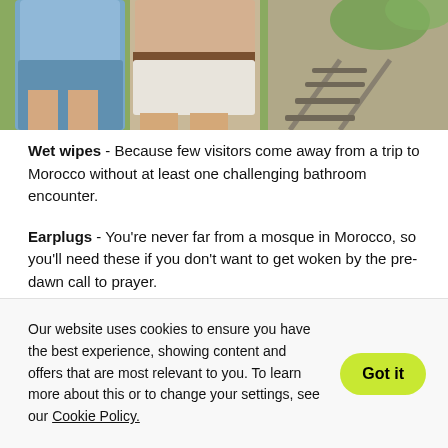[Figure (photo): Photo showing two people (lower bodies) standing on or near railway tracks, wearing shorts. Greenery visible in background.]
Wet wipes - Because few visitors come away from a trip to Morocco without at least one challenging bathroom encounter.
Earplugs - You're never far from a mosque in Morocco, so you'll need these if you don't want to get woken by the pre-dawn call to prayer.
Our website uses cookies to ensure you have the best experience, showing content and offers that are most relevant to you. To learn more about this or to change your settings, see our Cookie Policy.